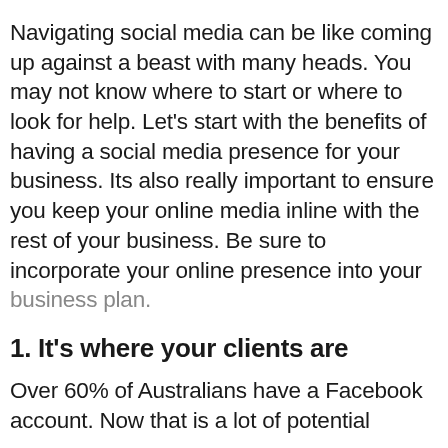Navigating social media can be like coming up against a beast with many heads. You may not know where to start or where to look for help. Let's start with the benefits of having a social media presence for your business. Its also really important to ensure you keep your online media inline with the rest of your business. Be sure to incorporate your online presence into your business plan.
1. It's where your clients are
Over 60% of Australians have a Facebook account. Now that is a lot of potential